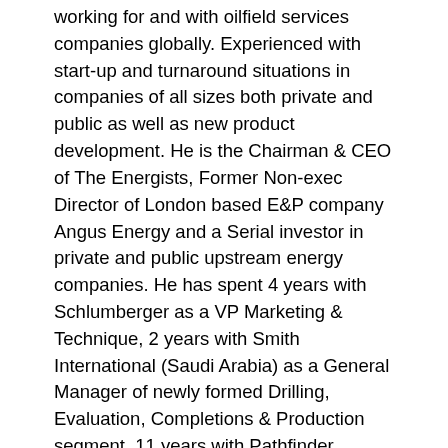working for and with oilfield services companies globally. Experienced with start-up and turnaround situations in companies of all sizes both private and public as well as new product development. He is the Chairman & CEO of The Energists, Former Non-exec Director of London based E&P company Angus Energy and a Serial investor in private and public upstream energy companies. He has spent 4 years with Schlumberger as a VP Marketing & Technique, 2 years with Smith International (Saudi Arabia) as a General Manager of newly formed Drilling, Evaluation, Completions & Production segment, 11 years with Pathfinder Energy Services as a General Managers and 9 years with Halliburton Drilling Services in various positions.
Kurt Prohl – Partner | Kurt's has 20 years of work experience in energy finance with substantial buy-side, sell-side and lending experience. 10 years with